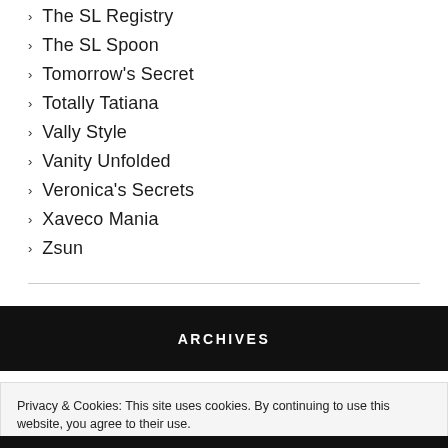The SL Registry
The SL Spoon
Tomorrow's Secret
Totally Tatiana
Vally Style
Vanity Unfolded
Veronica's Secrets
Xaveco Mania
Zsun
ARCHIVES
Privacy & Cookies: This site uses cookies. By continuing to use this website, you agree to their use.
To find out more, including how to control cookies, see here: Our Cookie Policy